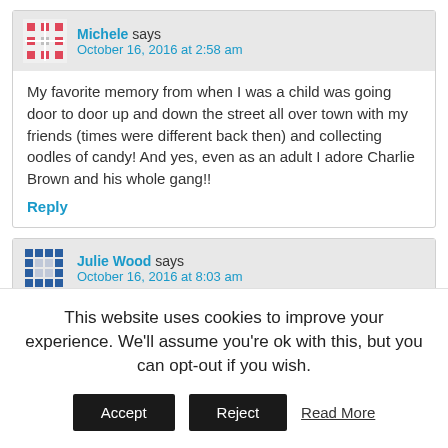Michele says October 16, 2016 at 2:58 am
My favorite memory from when I was a child was going door to door up and down the street all over town with my friends (times were different back then) and collecting oodles of candy! And yes, even as an adult I adore Charlie Brown and his whole gang!!
Reply
Julie Wood says October 16, 2016 at 8:03 am
My favorite Halloween memories are with my Mom getting me all dressed up and taking me trick or treating. It was so fun. My Mom made our Halloween costumes and she made them really good
This website uses cookies to improve your experience. We'll assume you're ok with this, but you can opt-out if you wish.
Accept   Reject   Read More